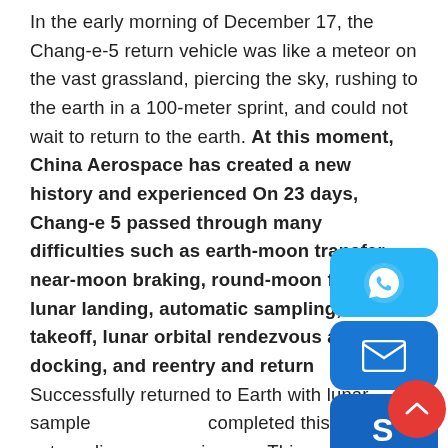In the early morning of December 17, the Chang-e-5 return vehicle was like a meteor on the vast grassland, piercing the sky, rushing to the earth in a 100-meter sprint, and could not wait to return to the earth. At this moment, China Aerospace has created a new history and experienced On 23 days, Chang-e 5 passed through many difficulties such as earth-moon transfer, near-moon braking, round-moon flight, lunar landing, automatic sampling, lunar takeoff, lunar orbital rendezvous and docking, and reentry and return Successfully returned to Earth with lunar samples, completed this extraordinary space journey.This [st lunar sample return mission for mankind in the 21st century, marking a big step forward for China spaceflight.
Experts from China National Space Administration, one mission, the Chang-e-5 probe has continuously achieved the first lunar surface sampling, lunar ta...
[Figure (other): Social media sharing buttons overlay: WhatsApp (blue rounded square with phone icon), Email (blue rounded square with envelope icon), Skype (dark blue rounded square with S logo), Chat (blue rounded square with speech bubble icon), and a red circular scroll-up button with chevron arrow.]